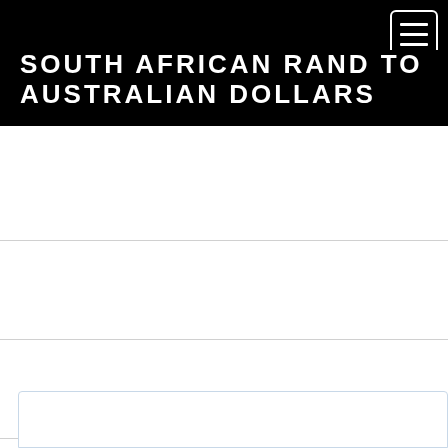SOUTH AFRICAN RAND TO AUSTRALIAN DOLLARS